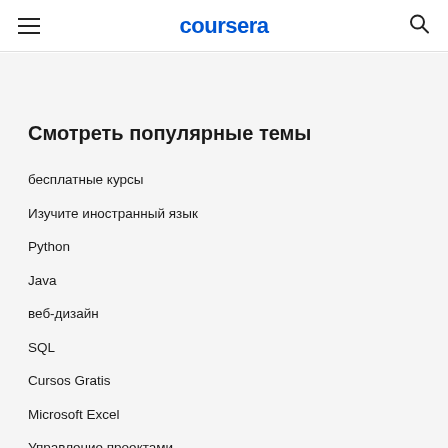coursera
Смотреть популярные темы
бесплатные курсы
Изучите иностранный язык
Python
Java
веб-дизайн
SQL
Cursos Gratis
Microsoft Excel
Управление проектами